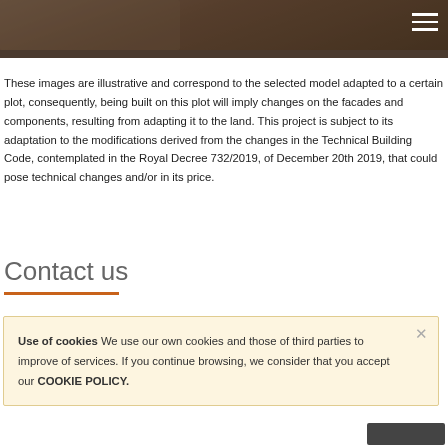[Figure (photo): Header image showing a building/house exterior, darkened, with hamburger menu icon in top right]
These images are illustrative and correspond to the selected model adapted to a certain plot, consequently, being built on this plot will imply changes on the facades and components, resulting from adapting it to the land. This project is subject to its adaptation to the modifications derived from the changes in the Technical Building Code, contemplated in the Royal Decree 732/2019, of December 20th 2019, that could pose technical changes and/or in its price.
Contact us
Use of cookies We use our own cookies and those of third parties to improve of services. If you continue browsing, we consider that you accept our COOKIE POLICY.